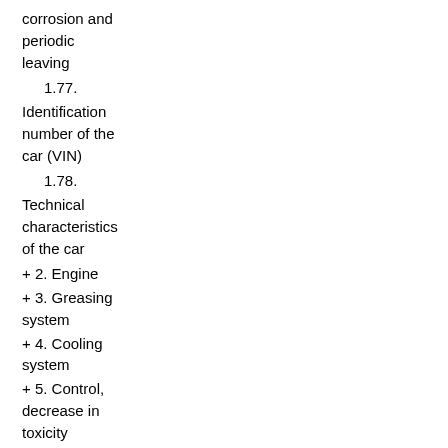corrosion and periodic leaving
1.77. Identification number of the car (VIN)
1.78. Technical characteristics of the car
+ 2. Engine
+ 3. Greasing system
+ 4. Cooling system
+ 5. Control, decrease in toxicity
+ 6. Fuel system
+ 7. Ignition system
+ 8. Coupling
+ 9. Transmission
+ 10. Axes and power shafts